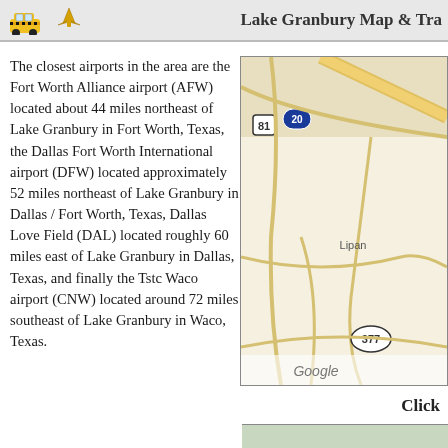Lake Granbury Map & Tra
The closest airports in the area are the Fort Worth Alliance airport (AFW) located about 44 miles northeast of Lake Granbury in Fort Worth, Texas, the Dallas Fort Worth International airport (DFW) located approximately 52 miles northeast of Lake Granbury in Dallas / Fort Worth, Texas, Dallas Love Field (DAL) located roughly 60 miles east of Lake Granbury in Dallas, Texas, and finally the Tstc Waco airport (CNW) located around 72 miles southeast of Lake Granbury in Waco, Texas.
[Figure (map): Google Map showing the Lake Granbury area in Texas with roads, route markers for 81, I-20, 377, and the town of Lipan labeled. Google watermark visible at bottom.]
Click